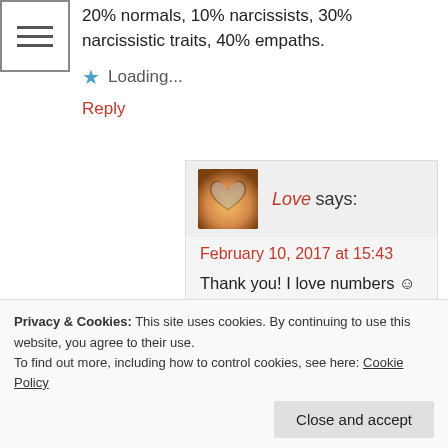[Figure (illustration): Hamburger menu icon — three horizontal lines in a square border]
20% normals, 10% narcissists, 30% narcissistic traits, 40% empaths.
★ Loading...
Reply
[Figure (photo): Avatar image: hands forming a heart shape against backlit warm background]
Love says:
February 10, 2017 at 15:43
Thank you! I love numbers 😊 interesting that empaths are a minority in your group in comparison to the sum of others. Why do you think that is? Are the ones who are more
Privacy & Cookies: This site uses cookies. By continuing to use this website, you agree to their use.
To find out more, including how to control cookies, see here: Cookie Policy
Close and accept